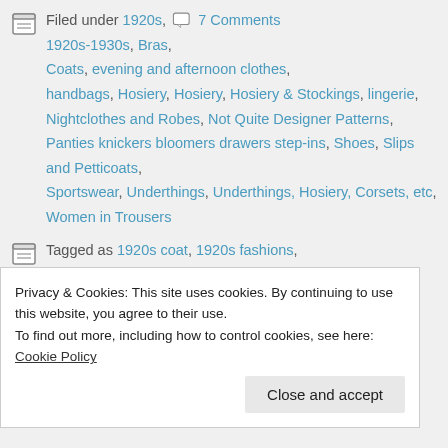Filed under 1920s, 7 Comments 1920s-1930s, Bras, Coats, evening and afternoon clothes, handbags, Hosiery, Hosiery, Hosiery & Stockings, lingerie, Nightclothes and Robes, Not Quite Designer Patterns, Panties knickers bloomers drawers step-ins, Shoes, Slips and Petticoats, Sportswear, Underthings, Underthings, Hosiery, Corsets, etc, Women in Trousers
Tagged as 1920s coat, 1920s fashions, 1920s styles, Art Deco, butterick 2594 2801 2779 2729 women's college
Privacy & Cookies: This site uses cookies. By continuing to use this website, you agree to their use. To find out more, including how to control cookies, see here: Cookie Policy